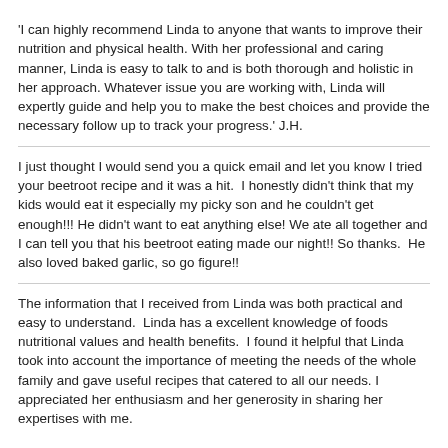'I can highly recommend Linda to anyone that wants to improve their nutrition and physical health. With her professional and caring manner, Linda is easy to talk to and is both thorough and holistic in her approach. Whatever issue you are working with, Linda will expertly guide and help you to make the best choices and provide the necessary follow up to track your progress.' J.H.
I just thought I would send you a quick email and let you know I tried your beetroot recipe and it was a hit.  I honestly didn't think that my kids would eat it especially my picky son and he couldn't get enough!!! He didn't want to eat anything else! We ate all together and I can tell you that his beetroot eating made our night!! So thanks.  He also loved baked garlic, so go figure!!
The information that I received from Linda was both practical and easy to understand.  Linda has a excellent knowledge of foods nutritional values and health benefits.  I found it helpful that Linda took into account the importance of meeting the needs of the whole family and gave useful recipes that catered to all our needs. I appreciated her enthusiasm and her generosity in sharing her expertises with me.